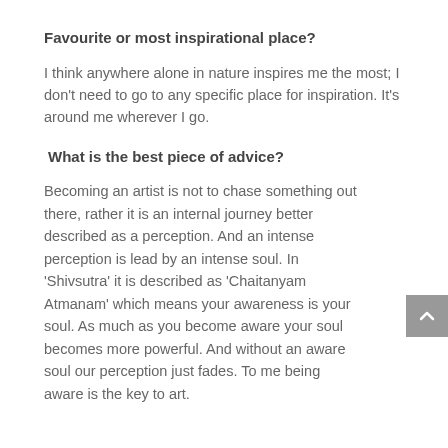Favourite or most inspirational place?
I think anywhere alone in nature inspires me the most; I don't need to go to any specific place for inspiration. It's around me wherever I go.
What is the best piece of advice?
Becoming an artist is not to chase something out there, rather it is an internal journey better described as a perception. And an intense perception is lead by an intense soul. In 'Shivsutra' it is described as 'Chaitanyam Atmanam' which means your awareness is your soul. As much as you become aware your soul becomes more powerful. And without an aware soul our perception just fades. To me being aware is the key to art.